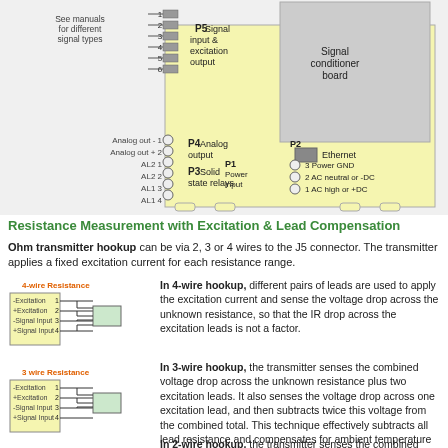[Figure (schematic): Wiring diagram showing signal conditioner board with connectors P1 (Power input), P2 (Ethernet), P3 (Solid state relays), P4 (Analog output), P5 (Signal input & excitation output). Left side labels show Analog out -, Analog out +, AL2 1, AL2 2, AL1 3, AL1 4, with screw terminals. P1 shows Power GND pin 3, AC neutral or -DC pin 2, AC high or +DC pin 1. Top left note: See manuals for different signal types.]
Resistance Measurement with Excitation & Lead Compensation
Ohm transmitter hookup can be via 2, 3 or 4 wires to the J5 connector. The transmitter applies a fixed excitation current for each resistance range.
[Figure (schematic): 4-wire Resistance hookup diagram showing 4 terminals: -Excitation (1), +Excitation (2), -Signal Input (3), +Signal Input (4) connected to a resistor symbol.]
In 4-wire hookup, different pairs of leads are used to apply the excitation current and sense the voltage drop across the unknown resistance, so that the IR drop across the excitation leads is not a factor.
[Figure (schematic): 3-wire Resistance hookup diagram showing 4 terminals: -Excitation (1), +Excitation (2), -Signal Input (3), +Signal Input (4) connected to a resistor symbol.]
In 3-wire hookup, the transmitter senses the combined voltage drop across the unknown resistance plus two excitation leads. It also senses the voltage drop across one excitation lead, and then subtracts twice this voltage from the combined total. This technique effectively subtracts all lead resistance and compensates for ambient temperature changes if the two excitation leads are identical.
In 2-wire hookup, the transmitter senses the combined